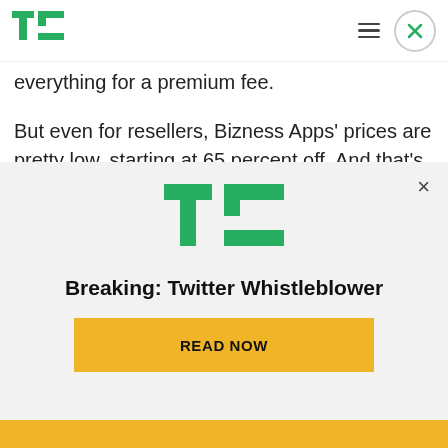TechCrunch header with logo, hamburger menu, and close button
everything for a premium fee.
But even for resellers, Bizness Apps' prices are pretty low, starting at 65 percent off. And that's one of the startup's big value propositions — while most app builders require upfront set-up fees as high as $2,000, Bizness Apps lets SMBs develop mobile apps for either iOS or Android, starting at $39, while
[Figure (logo): TechCrunch TC logo in green, modal popup with Breaking: Twitter Whistleblower headline and READ NOW button]